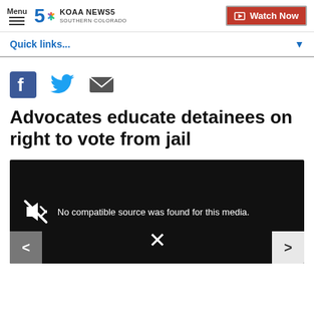Menu | KOAA NEWS5 SOUTHERN COLORADO | Watch Now
Quick links...
[Figure (screenshot): Social sharing icons: Facebook, Twitter, Email]
Advocates educate detainees on right to vote from jail
[Figure (screenshot): Video player showing 'No compatible source was found for this media.' with navigation arrows and X close button]